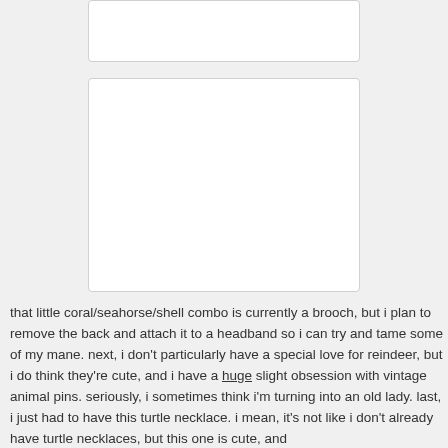[Figure (photo): Top image placeholder - white rectangle with border]
[Figure (photo): Main image placeholder - white rectangle with border]
that little coral/seahorse/shell combo is currently a brooch, but i plan to remove the back and attach it to a headband so i can try and tame some of my mane. next, i don't particularly have a special love for reindeer, but i do think they're cute, and i have a huge slight obsession with vintage animal pins. seriously, i sometimes think i'm turning into an old lady. last, i just had to have this turtle necklace. i mean, it's not like i don't already have turtle necklaces, but this one is cute, and